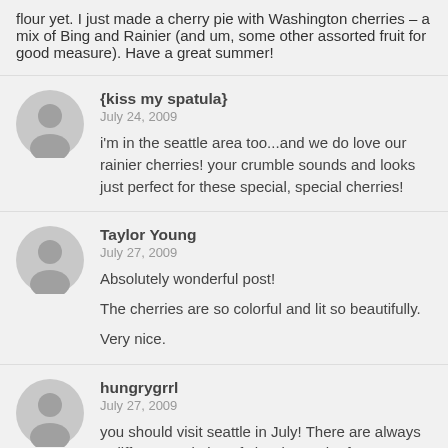flour yet. I just made a cherry pie with Washington cherries – a mix of Bing and Rainier (and um, some other assorted fruit for good measure). Have a great summer!
{kiss my spatula}
July 24, 2009
i'm in the seattle area too...and we do love our rainier cherries! your crumble sounds and looks just perfect for these special, special cherries!
Taylor Young
July 27, 2009
Absolutely wonderful post!
The cherries are so colorful and lit so beautifully.
Very nice.
hungrygrrl
July 27, 2009
you should visit seattle in July! There are always 5 different varieties of cherries at the farmer's market, the